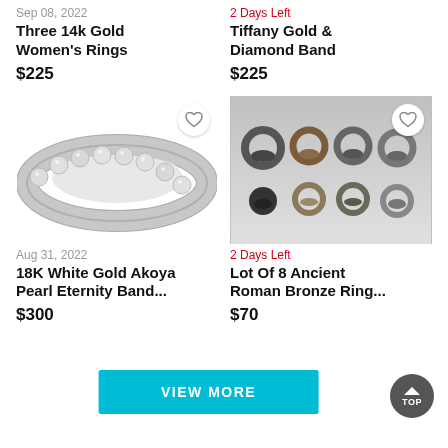Sep 08, 2022
Three 14k Gold Women's Rings
$225
2 Days Left
Tiffany Gold & Diamond Band
$225
[Figure (photo): 18K White Gold Akoya Pearl Eternity Band ring with pearl set band]
[Figure (photo): Lot of 8 Ancient Roman Bronze Rings displayed on gray background]
Aug 31, 2022
18K White Gold Akoya Pearl Eternity Band...
$300
2 Days Left
Lot Of 8 Ancient Roman Bronze Ring...
$70
VIEW MORE